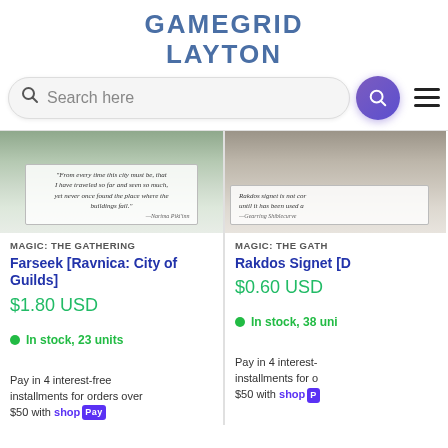GAMEGRID LAYTON
Search here
[Figure (screenshot): Product card image for Farseek card from Magic: The Gathering]
MAGIC: THE GATHERING
Farseek [Ravnica: City of Guilds]
$1.80 USD
In stock, 23 units
Pay in 4 interest-free installments for orders over $50 with shop Pay
[Figure (screenshot): Product card image for Rakdos Signet card from Magic: The Gathering]
MAGIC: THE GATH
Rakdos Signet [D
$0.60 USD
In stock, 38 uni
Pay in 4 interest-free installments for orders over $50 with shop Pay